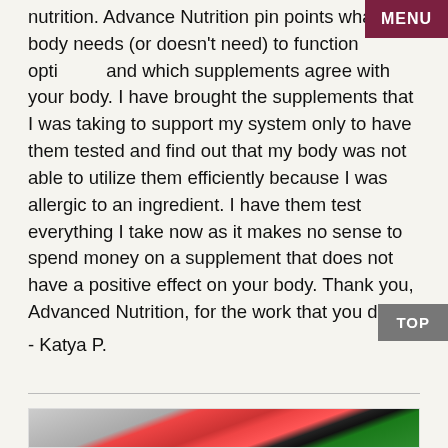nutrition. Advance Nutrition pin points what your body needs (or doesn't need) to function optimally and which supplements agree with your body. I have brought the supplements that I was taking to support my system only to have them tested and find out that my body was not able to utilize them efficiently because I was allergic to an ingredient. I have them test everything I take now as it makes no sense to spend money on a supplement that does not have a positive effect on your body. Thank you, Advanced Nutrition, for the work that you do. "
- Katya P.
[Figure (photo): Photo of supplement bottles and containers including red and green colored bottles/containers]